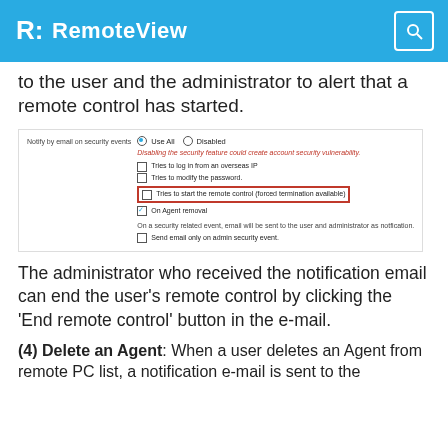RemoteView
to the user and the administrator to alert that a remote control has started.
[Figure (screenshot): Settings UI screenshot showing 'Notify by email on security events' with radio buttons 'Use All' and 'Disabled', a warning text, checkboxes for 'Tries to log in from an overseas IP', 'Tries to modify the password', 'Tries to start the remote control (forced termination available)' (highlighted in red border), 'On Agent removal', and notes about sending email on security related events.]
The administrator who received the notification email can end the user's remote control by clicking the 'End remote control' button in the e-mail.
(4) Delete an Agent: When a user deletes an Agent from remote PC list, a notification e-mail is sent to the